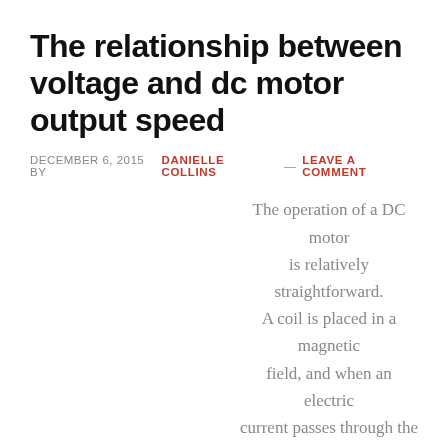The relationship between voltage and dc motor output speed
DECEMBER 6, 2015 BY DANIELLE COLLINS — LEAVE A COMMENT
The operation of a DC motor is relatively straightforward. A coil is placed in a magnetic field, and when an electric current passes through the coil, a torque is produced, causing the motor to turn. The entire process is driven by applying electrical power to the coil, with the source voltage having a direct relationship […]